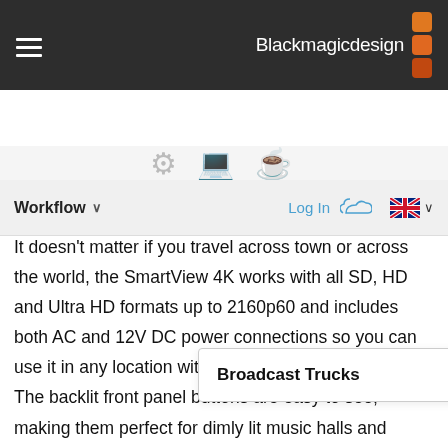Blackmagicdesign
Workflow
Log In
Broadcast Trucks
It doesn't matter if you travel across town or across the world, the SmartView 4K works with all SD, HD and Ultra HD formats up to 2160p60 and includes both AC and 12V DC power connections so you can use it in any location with any voltage power source! The backlit front panel buttons are easy to see, making them perfect for dimly lit music halls and theaters. It's also incredibly thin and lightweight, making it easier and cheaper to ship than traditional bulky broadcast monitors, plus it makes racks easy